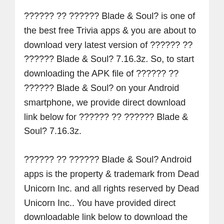?????? ?? ?????? Blade & Soul? is one of the best free Trivia apps & you are about to download very latest version of ?????? ?? ?????? Blade & Soul? 7.16.3z. So, to start downloading the APK file of ?????? ?? ?????? Blade & Soul? on your Android smartphone, we provide direct download link below for ?????? ?? ?????? Blade & Soul? 7.16.3z.
?????? ?? ?????? Blade & Soul? Android apps is the property & trademark from Dead Unicorn Inc. and all rights reserved by Dead Unicorn Inc.. You have provided direct downloadable link below to download the original free apk download package.
Please be aware that softstribe.com only share the original and free apk installer package for ?????? ?? ?????? Blade & Soul? 7.16.3z without any